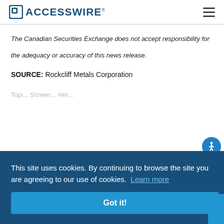ACCESSWIRE
The Canadian Securities Exchange does not accept responsibility for the adequacy or accuracy of this news release.
SOURCE: Rockcliff Metals Corporation
This site uses cookies. By continuing to browse the site you are agreeing to our use of cookies. Learn more
Got it!